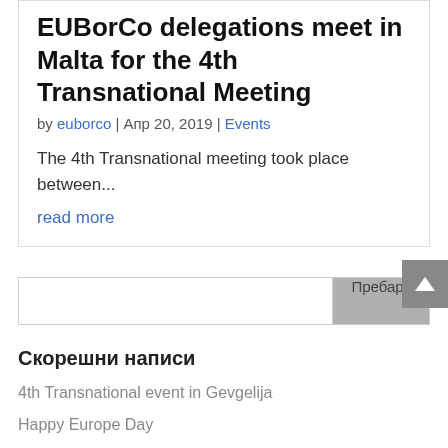EUBorCo delegations meet in Malta for the 4th Transnational Meeting
by euborco | Apr 20, 2019 | Events
The 4th Transnational meeting took place between...
read more
Скорешни написи
4th Transnational event in Gevgelija
Happy Europe Day